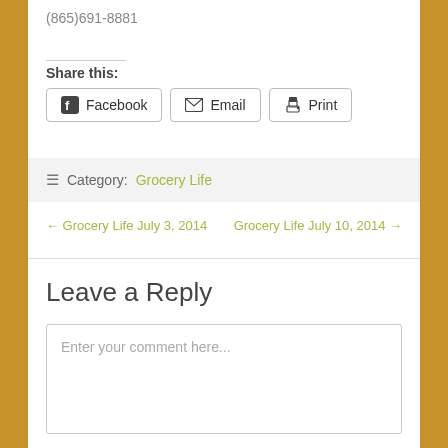(865)691-8881
Share this:
Facebook  Email  Print
≡ Category: Grocery Life
← Grocery Life July 3, 2014    Grocery Life July 10, 2014 →
Leave a Reply
Enter your comment here...